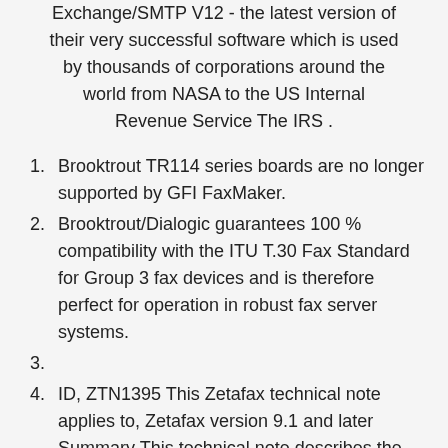Exchange/SMTP V12 - the latest version of their very successful software which is used by thousands of corporations around the world from NASA to the US Internal Revenue Service The IRS .
Brooktrout TR114 series boards are no longer supported by GFI FaxMaker.
Brooktrout/Dialogic guarantees 100 % compatibility with the ITU T.30 Fax Standard for Group 3 fax devices and is therefore perfect for operation in robust fax server systems.
ID, ZTN1395 This Zetafax technical note applies to, Zetafax version 9.1 and later Summary This technical note describes the installation process for the following Brooktrout intelligent fax cards.